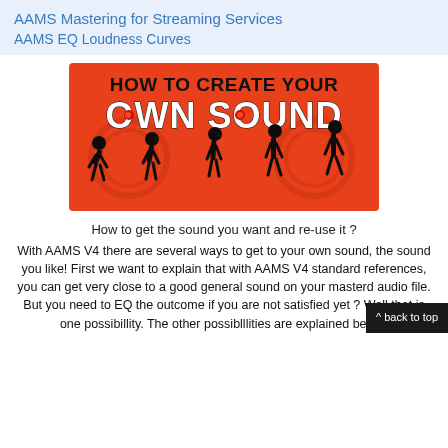AAMS Mastering for Streaming Services
AAMS EQ Loudness Curves
[Figure (illustration): Red banner graphic with silhouettes of human evolution stages from ape to upright man, with white bold text reading 'HOW TO CREATE YOUR OWN SOUND']
How to get the sound you want and re-use it ?
With AAMS V4 there are several ways to get to your own sound, the sound you like! First we want to explain that with AAMS V4 standard references, you can get very close to a good general sound on your masterd audio file. But you need to EQ the outcome if you are not satisfied yet ? Well that is one possibillity. The other possiblllities are explained below.